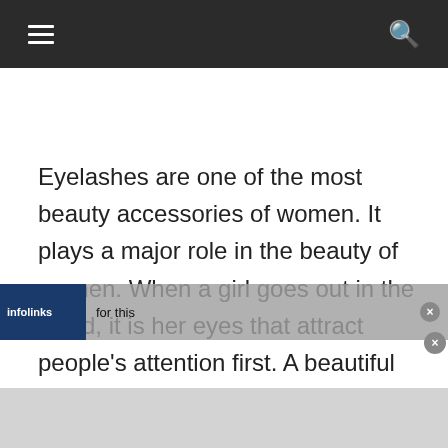≡  🔍
Eyelashes are one of the most beauty accessories of women. It plays a major role in the beauty of women. When a girl goes out in the world, it is her eyes that attract people's attention first. A beautiful for this
[Figure (other): Infolinks advertisement overlay banner with close button, partially covering the bottom of the article text. Contains text 'for this' visible through overlay.]